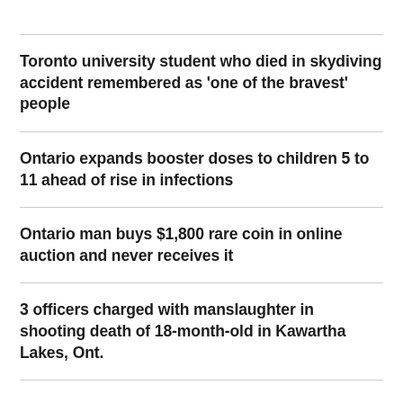Toronto university student who died in skydiving accident remembered as 'one of the bravest' people
Ontario expands booster doses to children 5 to 11 ahead of rise in infections
Ontario man buys $1,800 rare coin in online auction and never receives it
3 officers charged with manslaughter in shooting death of 18-month-old in Kawartha Lakes, Ont.